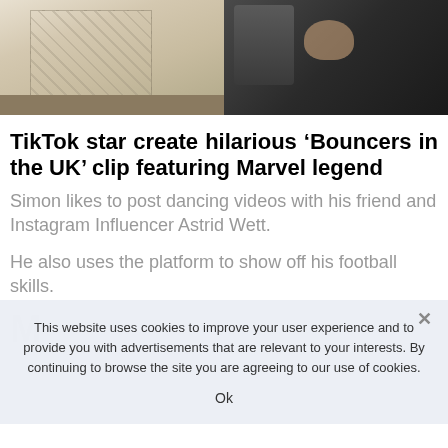[Figure (photo): Two-panel photo strip: left panel shows a person wearing a white plaid/checked shirt jacket outdoors against a green wall; right panel shows a close-up of a hand gripping a dark jacket lapel.]
TikTok star create hilarious ‘Bouncers in the UK’ clip featuring Marvel legend
Simon likes to post dancing videos with his friend and Instagram Influencer Astrid Wett.
He also uses the platform to show off his football skills.
This website uses cookies to improve your user experience and to provide you with advertisements that are relevant to your interests. By continuing to browse the site you are agreeing to our use of cookies.
Ok